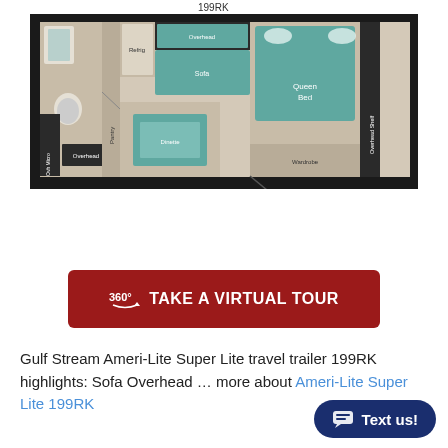199RK
[Figure (illustration): Floor plan of Gulf Stream Ameri-Lite Super Lite 199RK travel trailer showing: overhead shelf, queen bed, wardrobe, sofa, overhead storage, refrigerator, pantry, dinette, overhead storage, ovh micro, bathroom]
[Figure (other): 360° TAKE A VIRTUAL TOUR button in dark red]
Gulf Stream Ameri-Lite Super Lite travel trailer 199RK highlights: Sofa Overhead … more about Ameri-Lite Super Lite 199RK